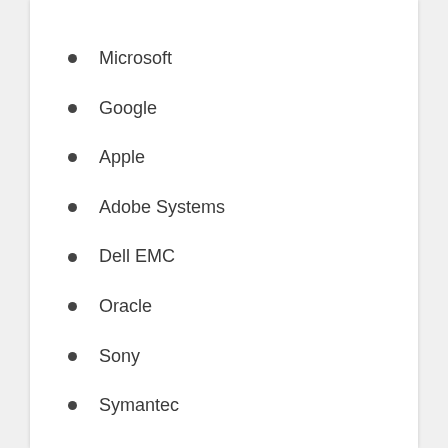Microsoft
Google
Apple
Adobe Systems
Dell EMC
Oracle
Sony
Symantec
LockLizard
Amazon